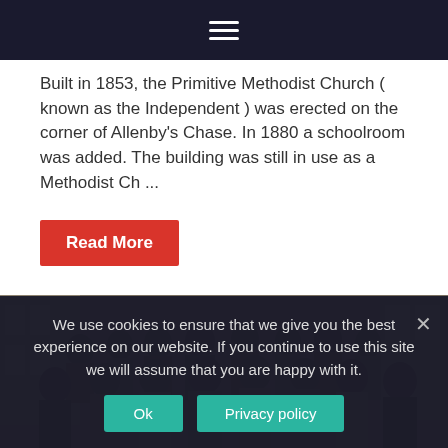≡ (hamburger menu icon)
Built in 1853, the Primitive Methodist Church ( known as the Independent ) was erected on the corner of Allenby's Chase. In 1880 a schoolroom was added. The building was still in use as a Methodist Ch ...
Read More
[Figure (photo): Sepia group photo of approximately 20-25 people standing outside a building with windows and brick wall, appears to be a historical photograph from mid-20th century.]
We use cookies to ensure that we give you the best experience on our website. If you continue to use this site we will assume that you are happy with it.
Ok
Privacy policy